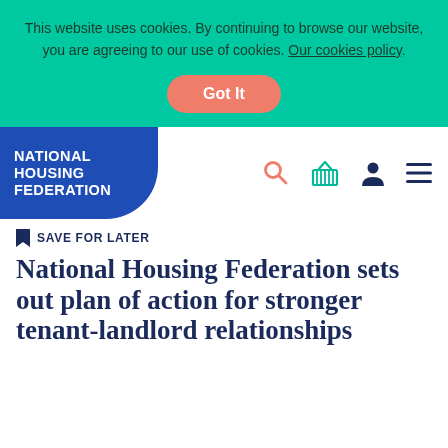This website uses cookies. By continuing to browse our website, you are agreeing to our use of cookies. Our cookies policy.
Got It
[Figure (logo): National Housing Federation logo - white text on blue rounded rectangle background]
[Figure (infographic): Navigation bar icons: search (orange magnifying glass), basket (teal shopping basket), user (dark blue person silhouette), menu (dark blue hamburger lines)]
SAVE FOR LATER
National Housing Federation sets out plan of action for stronger tenant-landlord relationships